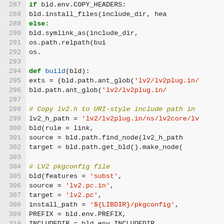[Figure (screenshot): Python source code listing, lines 287-316, showing build functions with syntax highlighting. Keywords in green/bold, strings in red, comments in italic olive, function names in blue.]